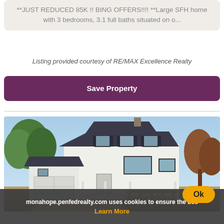**JUST REDUCED 85K !! BING OFFERS!!!! **Large SFH home with 3 bedrooms, 3.1 full baths situated on o...
Listing provided courtesy of RE/MAX Excellence Realty
Save Property
[Figure (photo): Exterior photo of a two-story white single family home with dark shutters, an attached garage, a front porch with white railing, and a wooden fence section in the foreground. Trees visible in background under a blue sky.]
monahope.penfedrealty.com uses cookies to ensure the bes
Learn More
Ok